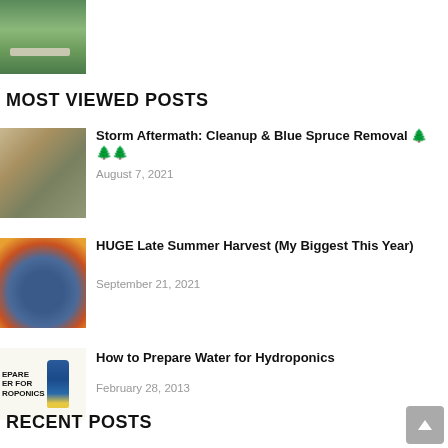[Figure (photo): Outdoor garden photo with bench and green hedges at top of page]
MOST VIEWED POSTS
[Figure (photo): Storm aftermath with fallen tree debris on ground]
Storm Aftermath: Cleanup & Blue Spruce Removal 🌲🌲🌲
August 7, 2021
[Figure (photo): Man smiling surrounded by colorful vegetables and fruits harvest]
HUGE Late Summer Harvest (My Biggest This Year)
September 21, 2021
[Figure (photo): Prepare water for hydroponics text image with pH Up bottle]
How to Prepare Water for Hydroponics
February 28, 2013
RECENT POSTS